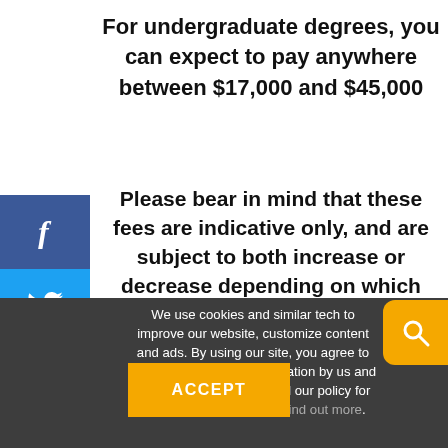For undergraduate degrees, you can expect to pay anywhere between $17,000 and $45,000
Please bear in mind that these fees are indicative only, and are subject to both increase or decrease depending on which course you choose to study and where.
We use cookies and similar tech to improve our website, customize content and ads. By using our site, you agree to this use of browsing information by us and our service partners. Read our policy for details and opt out info. Find out more
ACCEPT